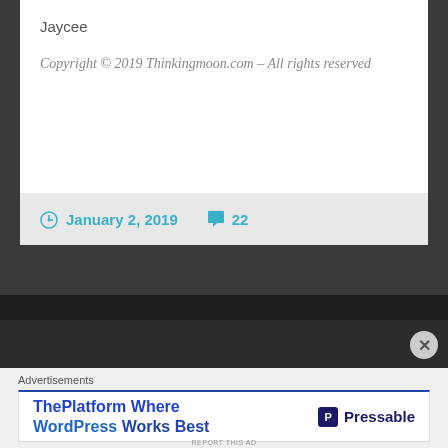Jaycee
Copyright © 2019 Thinkingmoon.com – All rights reserved
January 2, 2019   22
Advertisements
[Figure (other): Pressable advertisement banner: 'ThePlatform Where WordPress Works Best' with Pressable logo on right]